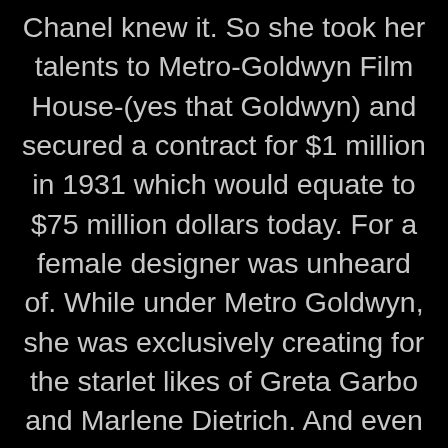Chanel knew it. So she took her talents to Metro-Goldwyn Film House-(yes that Goldwyn) and secured a contract for $1 million in 1931 which would equate to $75 million dollars today. For a female designer was unheard of. While under Metro Goldwyn, she was exclusively creating for the starlet likes of Greta Garbo and Marlene Dietrich. And even though she had a dislike for Hollywood and their stylings of women (she found it